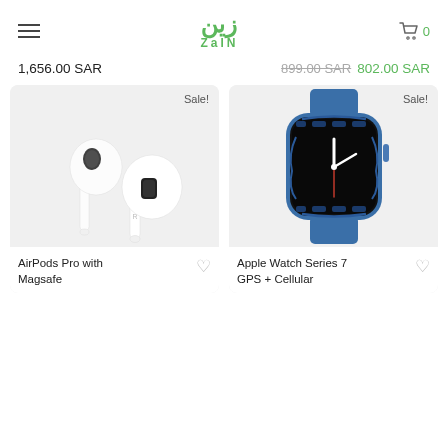Zain — Menu | Logo | Cart 0
1,656.00 SAR
899.00 SAR 802.00 SAR
[Figure (photo): Apple AirPods Pro with Magsafe — white wireless earbuds with charging stem, shown with Sale! badge]
[Figure (photo): Apple Watch Series 7 GPS + Cellular — blue aluminum case with blue sport band, digital clock face shown, Sale! badge]
AirPods Pro with Magsafe
Apple Watch Series 7 GPS + Cellular